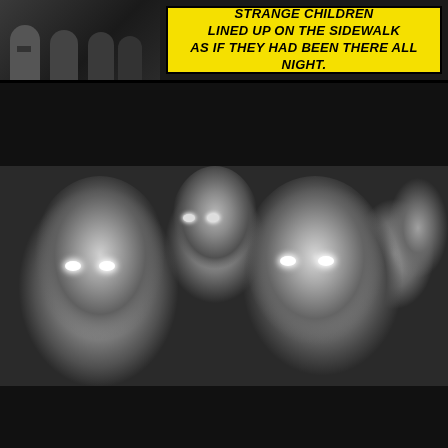[Figure (illustration): Comic-style meme panel 1: black and white photo of strange children lined up on a sidewalk, with yellow speech box caption]
Strange children lined up on the sidewalk as if they had been there all night.
[Figure (photo): Middle panel: close-up black and white photo of two strange-looking children with glowing white eyes staring forward]
Take us to your dealer!
[Figure (photo): Bottom panel: black and white photo of children with menacing expressions, with starburst speech bubble]
We demand high-quality cannabis at affordable prices or else!